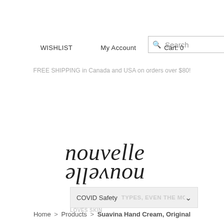[Figure (screenshot): Search bar with magnifying glass icon and placeholder text 'Search']
WISHLIST   My Account   Cart: 0
FREE SHIPPING in Canada and USA on orders over $80!
[Figure (logo): Nouvelle nouvelle logo in italic serif font, mirrored vertically on second line]
[Figure (screenshot): Dropdown menu showing 'COVID Safety' with chevron, overlaid text 'TYPES, EVEN THE MOST DELICATE']
Home > Products > Suavina Hand Cream, Original